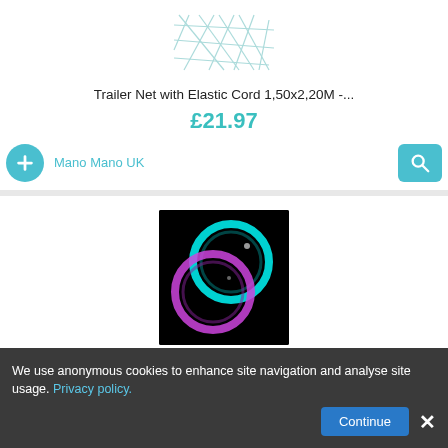[Figure (photo): Partial product image of a trailer net at top of page]
Trailer Net with Elastic Cord 1,50x2,20M -...
£21.97
Mano Mano UK
[Figure (photo): LED Cup Holder Lights product photo showing two glowing circular coasters on black background — cyan and purple/pink neon rings]
LED Cup Holder Lights, 2pcs LED Car Coasterss...
£11.99
Amazon
We use anonymous cookies to enhance site navigation and analyse site usage. Privacy policy.
Continue